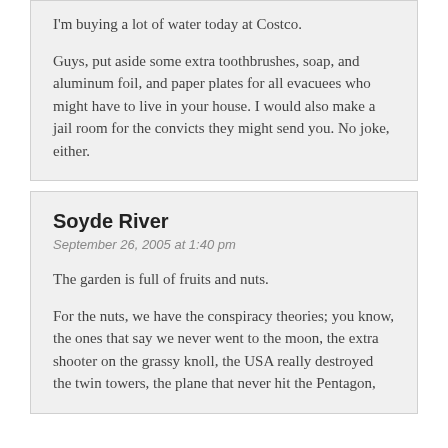I'm buying a lot of water today at Costco.
Guys, put aside some extra toothbrushes, soap, and aluminum foil, and paper plates for all evacuees who might have to live in your house. I would also make a jail room for the convicts they might send you. No joke, either.
Soyde River
September 26, 2005 at 1:40 pm
The garden is full of fruits and nuts.
For the nuts, we have the conspiracy theories; you know, the ones that say we never went to the moon, the extra shooter on the grassy knoll, the USA really destroyed the twin towers, the plane that never hit the Pentagon,